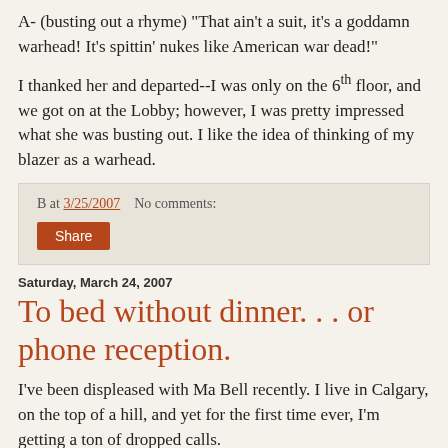A- (busting out a rhyme) "That ain't a suit, it's a goddamn warhead! It's spittin' nukes like American war dead!"
I thanked her and departed--I was only on the 6th floor, and we got on at the Lobby; however, I was pretty impressed what she was busting out. I like the idea of thinking of my blazer as a warhead.
B at 3/25/2007   No comments:
Share
Saturday, March 24, 2007
To bed without dinner. . . or phone reception.
I've been displeased with Ma Bell recently. I live in Calgary, on the top of a hill, and yet for the first time ever, I'm getting a ton of dropped calls.
I used to laugh at the commercials touting "Fewest dropped calls!"-